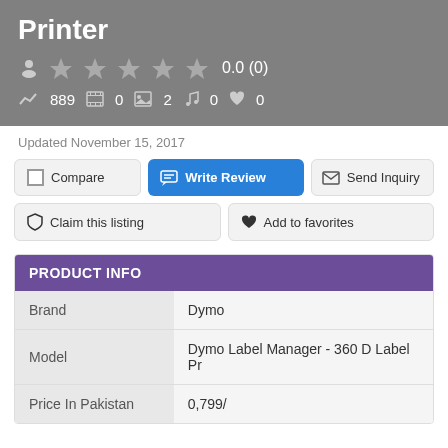Printer
0.0 (0)
889  0  2  0  0
Updated November 15, 2017
Compare
Write Review
Send Inquiry
Claim this listing
Add to favorites
PRODUCT INFO
|  |  |
| --- | --- |
| Brand | Dymo |
| Model | Dymo Label Manager - 360 D Label Pr |
| Price In Pakistan | 0,799/ |